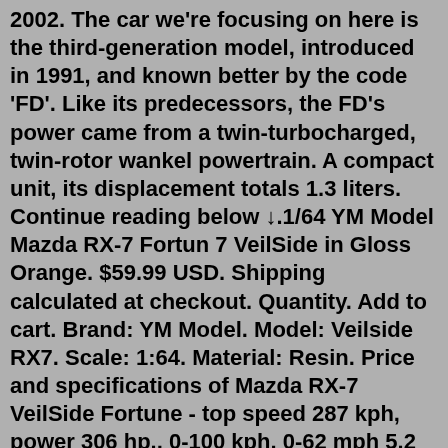2002. The car we're focusing on here is the third-generation model, introduced in 1991, and known better by the code 'FD'. Like its predecessors, the FD's power came from a twin-turbocharged, twin-rotor wankel powertrain. A compact unit, its displacement totals 1.3 liters. Continue reading below ↓.1/64 YM Model Mazda RX-7 Fortun 7 VeilSide in Gloss Orange. $59.99 USD. Shipping calculated at checkout. Quantity. Add to cart. Brand: YM Model. Model: Veilside RX7. Scale: 1:64. Material: Resin. Price and specifications of Mazda RX-7 VeilSide Fortune - top speed 287 kph, power 306 hp., 0-100 kph, 0-62 mph 5.2 seconds 1/64 YM Model Mazda RX-7 Fortun 7 VeilSide in Gloss Orange. $59.99 USD. Shipping calculated at checkout. Quantity. Add to cart. Brand: YM Model. Model: Veilside RX7. Scale: 1:64. Material: Resin. 2022 Mazda RX-7 Release Date And Price. The price for the fee for the near Mazda RX-7 2022 is an extra secret. On the contrary, we can assume that this impressive sports car will go on sale sooner or later in 2022. The likely launch date is